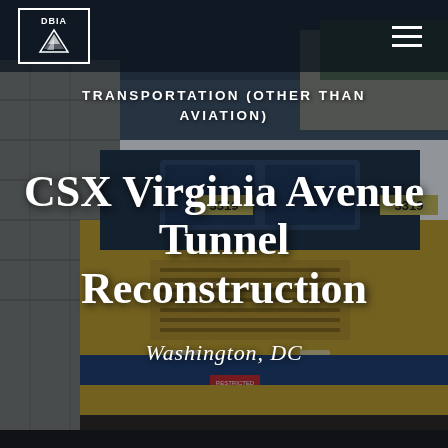[Figure (photo): Background photo of a yellow CSX locomotive (number 3319) in a tunnel/underpass setting in Washington DC. The train fills most of the frame with dark tunnel walls visible on the left side.]
DBIA logo and navigation hamburger menu
TRANSPORTATION (OTHER THAN AVIATION)
CSX Virginia Avenue Tunnel Reconstruction
Washington, DC